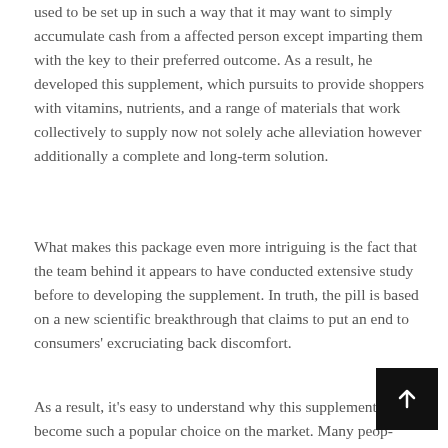used to be set up in such a way that it may want to simply accumulate cash from a affected person except imparting them with the key to their preferred outcome. As a result, he developed this supplement, which pursuits to provide shoppers with vitamins, nutrients, and a range of materials that work collectively to supply now not solely ache alleviation however additionally a complete and long-term solution.
What makes this package even more intriguing is the fact that the team behind it appears to have conducted extensive study before to developing the supplement. In truth, the pill is based on a new scientific breakthrough that claims to put an end to consumers' excruciating back discomfort.
As a result, it's easy to understand why this supplement has become such a popular choice on the market. Many people are looking for a dietary and natural supplement that can provide them with the internal benefits that they need to truly overcome